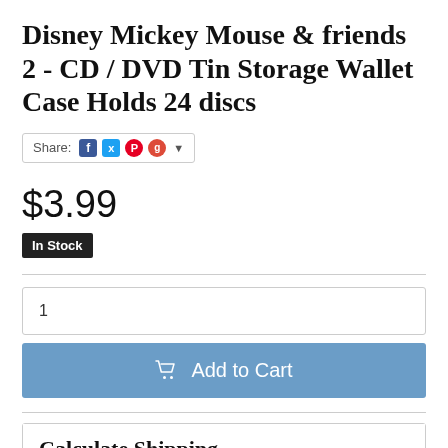Disney Mickey Mouse & friends 2 - CD / DVD Tin Storage Wallet Case Holds 24 discs
Share: [Facebook] [Twitter] [Pinterest] [Google+] ▾
$3.99
In Stock
1
Add to Cart
Calculate Shipping
Qty